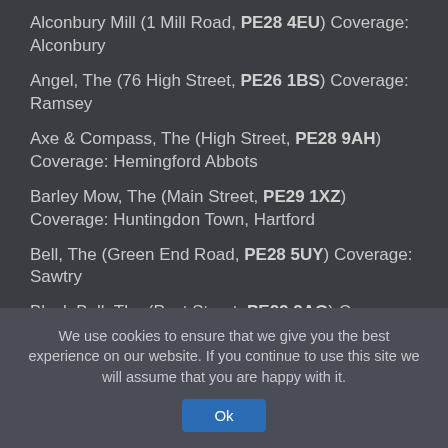Alconbury Mill (1 Mill Road, PE28 4EU) Coverage: Alconbury
Angel, The (76 High Street, PE26 1BS) Coverage: Ramsey
Axe & Compass, The (High Street, PE28 9AH) Coverage: Hemingford Abbots
Barley Mow, The (Main Street, PE29 1XZ) Coverage: Huntingdon Town, Hartford
Bell, The (Green End Road, PE28 5UY) Coverage: Sawtry
Black Bull, The (Post Street, PE29 2AQ) Coverage: Godmanchester
We use cookies to ensure that we give you the best experience on our website. If you continue to use this site we will assume that you are happy with it.